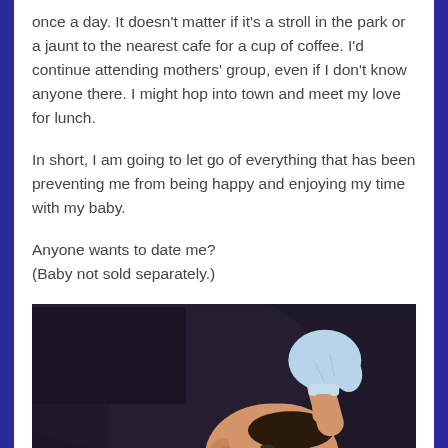once a day. It doesn't matter if it's a stroll in the park or a jaunt to the nearest cafe for a cup of coffee. I'd continue attending mothers' group, even if I don't know anyone there. I might hop into town and meet my love for lunch.
In short, I am going to let go of everything that has been preventing me from being happy and enjoying my time with my baby.
Anyone wants to date me?
(Baby not sold separately.)
[Figure (photo): Photo of a baby lying down on a dark background, wearing a light blue mitten/scratch mitt on one raised hand, with the baby's face partially visible]